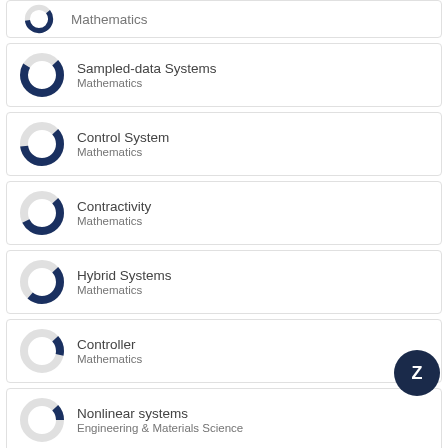[Figure (donut-chart): Partial donut chart icon - Mathematics (top, clipped)]
Mathematics
[Figure (donut-chart): Donut chart icon - Sampled-data Systems, Mathematics]
Sampled-data Systems
Mathematics
[Figure (donut-chart): Donut chart icon - Control System, Mathematics]
Control System
Mathematics
[Figure (donut-chart): Donut chart icon - Contractivity, Mathematics]
Contractivity
Mathematics
[Figure (donut-chart): Donut chart icon - Hybrid Systems, Mathematics]
Hybrid Systems
Mathematics
[Figure (donut-chart): Donut chart icon - Controller, Mathematics]
Controller
Mathematics
[Figure (donut-chart): Donut chart icon - Nonlinear systems, Engineering & Materials Science]
Nonlinear systems
Engineering & Materials Science
View full fingerprint e